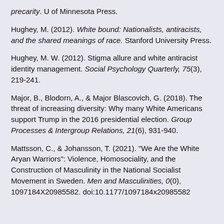precarity. U of Minnesota Press.
Hughey, M. (2012). White bound: Nationalists, antiracists, and the shared meanings of race. Stanford University Press.
Hughey, M. W. (2012). Stigma allure and white antiracist identity management. Social Psychology Quarterly, 75(3), 219-241.
Major, B., Blodorn, A., & Major Blascovich, G. (2018). The threat of increasing diversity: Why many White Americans support Trump in the 2016 presidential election. Group Processes & Intergroup Relations, 21(6), 931-940.
Mattsson, C., & Johansson, T. (2021). "We Are the White Aryan Warriors": Violence, Homosociality, and the Construction of Masculinity in the National Socialist Movement in Sweden. Men and Masculinities, 0(0), 1097184X20985582. doi:10.1177/1097184x20985582